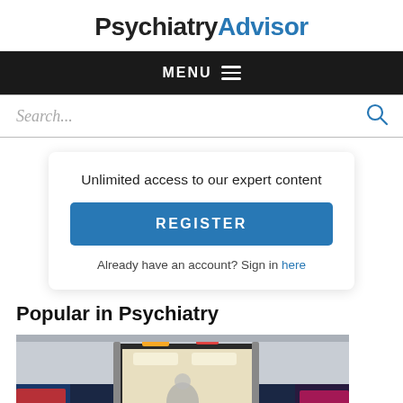PsychiatryAdvisor
MENU
Search...
Unlimited access to our expert content
REGISTER
Already have an account? Sign in here
Popular in Psychiatry
[Figure (photo): Ambulance with open rear doors at night, interior lights visible, emergency lights on sides]